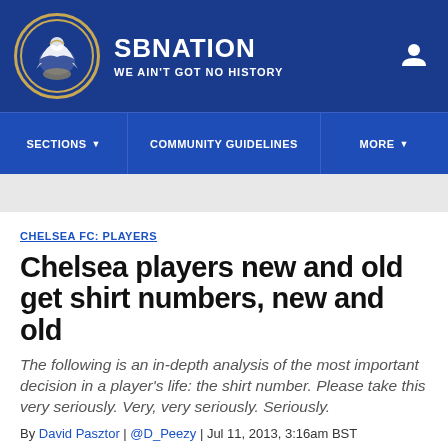SB NATION | WE AIN'T GOT NO HISTORY
SECTIONS | COMMUNITY GUIDELINES | MORE
CHELSEA FC: PLAYERS
Chelsea players new and old get shirt numbers, new and old
The following is an in-depth analysis of the most important decision in a player's life: the shirt number. Please take this very seriously. Very, very seriously. Seriously.
By David Pasztor | @D_Peezy | Jul 11, 2013, 3:16am BST
If you buy something from an SB Nation link, Vox Media may earn a commission. See our ethics statement.